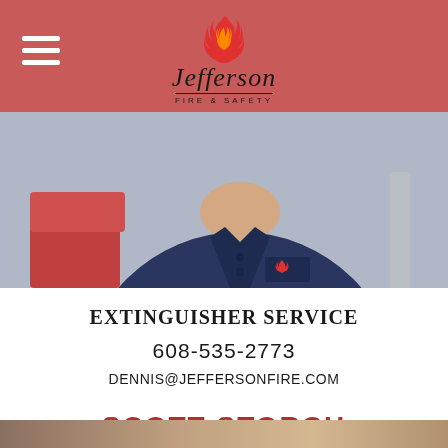[Figure (logo): Jefferson Fire & Safety logo with flame icon and script text, on red/pink header bar]
[Figure (photo): A person wearing a navy blue Jefferson Fire & Safety polo shirt, seated in an office setting with a red chair visible]
EXTINGUISHER SERVICE
608-535-2773
DENNIS@JEFFERSONFIRE.COM
SCOTT STORCH
[Figure (photo): Partial photo at bottom of page, showing an interior setting]